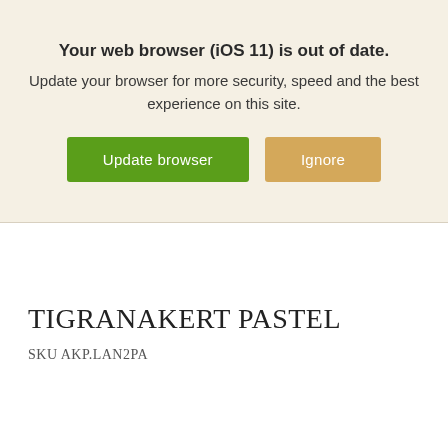Your web browser (iOS 11) is out of date.
Update your browser for more security, speed and the best experience on this site.
Update browser
Ignore
TIGRANAKERT PASTEL
SKU AKP.LAN2PA